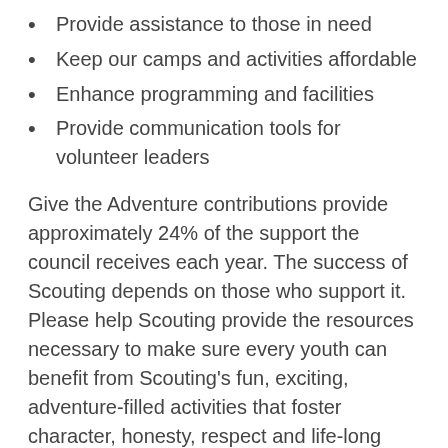Provide assistance to those in need
Keep our camps and activities affordable
Enhance programming and facilities
Provide communication tools for volunteer leaders
Give the Adventure contributions provide approximately 24% of the support the council receives each year. The success of Scouting depends on those who support it. Please help Scouting provide the resources necessary to make sure every youth can benefit from Scouting's fun, exciting, adventure-filled activities that foster character, honesty, respect and life-long values.
Your generous tax-deductible gift to the Boy Scouts of America provides direct funding for educational